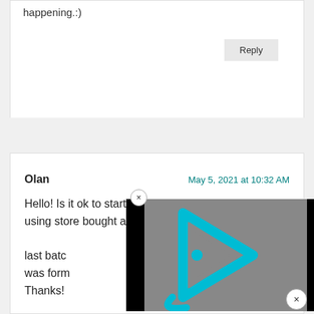happening.:)
Reply
Olan
May 5, 2021 at 10:32 AM
Hello! Is it ok to start another batch of vinegar by using store bought apple jui... last batc... was form... Thanks!
[Figure (screenshot): Video player overlay with cyan/teal triangular play button logo on gray background with black borders, and a close (x) button]